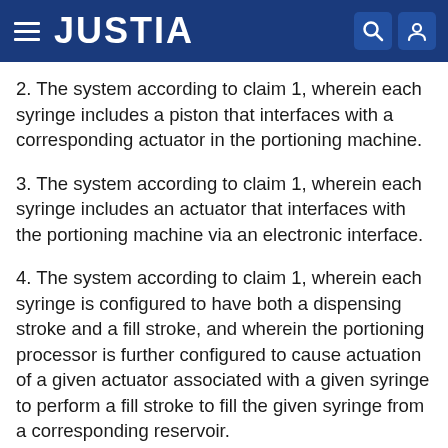JUSTIA
2. The system according to claim 1, wherein each syringe includes a piston that interfaces with a corresponding actuator in the portioning machine.
3. The system according to claim 1, wherein each syringe includes an actuator that interfaces with the portioning machine via an electronic interface.
4. The system according to claim 1, wherein each syringe is configured to have both a dispensing stroke and a fill stroke, and wherein the portioning processor is further configured to cause actuation of a given actuator associated with a given syringe to perform a fill stroke to fill the given syringe from a corresponding reservoir.
5. The system according to claim 1, wherein the camera, flash, and skin color matching processor are integrated into a mobile device that also has a camera and a skin color matching processor.